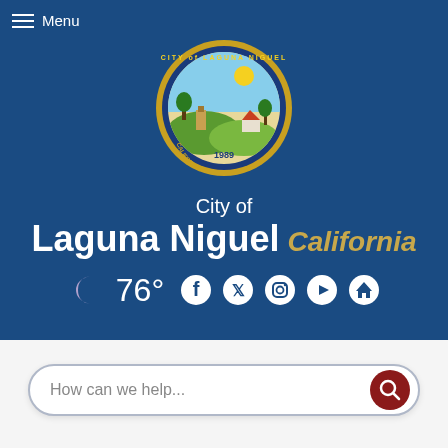Menu
[Figure (logo): City of Laguna Niguel California official city seal, circular, gold border, year 1989, showing cityscape with hills, trees, sun, and buildings]
City of Laguna Niguel California
[Figure (infographic): Weather and social media bar: crescent moon icon, 76° temperature, Facebook, Twitter, Instagram, YouTube, and home icons]
[Figure (screenshot): Search bar with placeholder text 'How can we help...' and a dark red circular search button with magnifying glass icon]